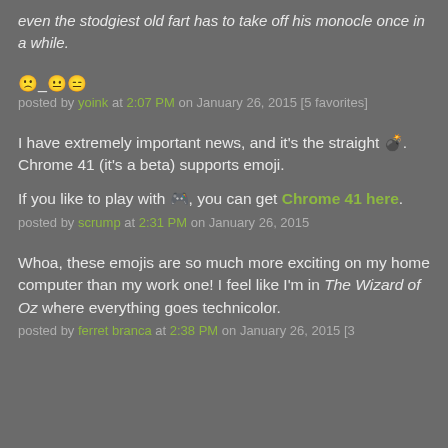even the stodgiest old fart has to take off his monocle once in a while.
🙁_😐😑
posted by yoink at 2:07 PM on January 26, 2015 [5 favorites]
I have extremely important news, and it's the straight 💣. Chrome 41 (it's a beta) supports emoji.
If you like to play with 🎮, you can get Chrome 41 here.
posted by scrump at 2:31 PM on January 26, 2015
Whoa, these emojis are so much more exciting on my home computer than my work one! I feel like I'm in The Wizard of Oz where everything goes technicolor.
posted by ferret branca at 2:38 PM on January 26, 2015 [3